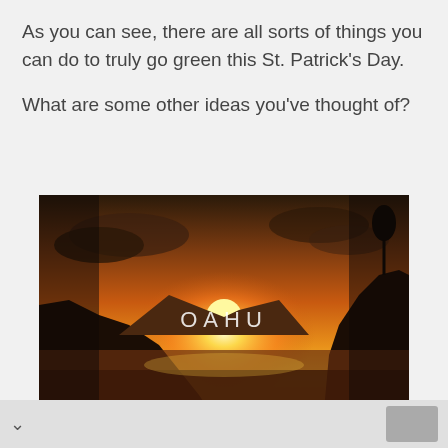As you can see, there are all sorts of things you can do to truly go green this St. Patrick's Day.
What are some other ideas you've thought of?
[Figure (screenshot): An advertisement showing a dramatic sunset landscape photo over ocean cliffs with the text 'OAHU' overlaid in the center. Below the image are navigation arrows and the text 'DISCOVER AMAZING TRAVEL SIDESTAGE.COM']